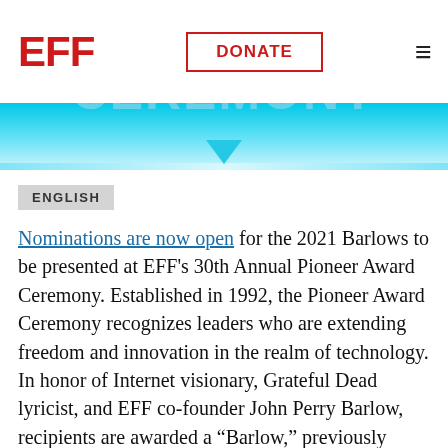EFF | DONATE
[Figure (other): Blue gradient banner with downward triangle pointer and thin accent line]
ENGLISH
Nominations are now open for the 2021 Barlows to be presented at EFF's 30th Annual Pioneer Award Ceremony. Established in 1992, the Pioneer Award Ceremony recognizes leaders who are extending freedom and innovation in the realm of technology. In honor of Internet visionary, Grateful Dead lyricist, and EFF co-founder John Perry Barlow, recipients are awarded a "Barlow," previously known as the Pioneer Awards. The nomination window will be open until July 15th at noon, 12:00 PM Pacific time. You could nominate the next